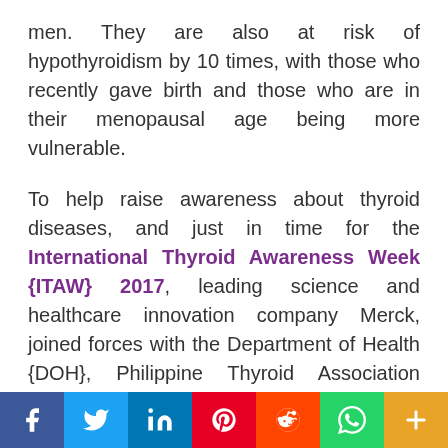men. They are also at risk of hypothyroidism by 10 times, with those who recently gave birth and those who are in their menopausal age being more vulnerable.
To help raise awareness about thyroid diseases, and just in time for the International Thyroid Awareness Week {ITAW} 2017, leading science and healthcare innovation company Merck, joined forces with the Department of Health {DOH}, Philippine Thyroid Association (PTA), Philippine Society of Endocrinology, Diabetes, and Metabolism {PSEDM}, and the Iodine Global Network {IGN}, to help raise consciousness against thyroid disorders.
[Figure (infographic): Social media share buttons bar: Facebook (blue), Twitter (light blue), LinkedIn (dark blue), Pinterest (red), Reddit (orange-red), WhatsApp (green), More/Plus (orange)]